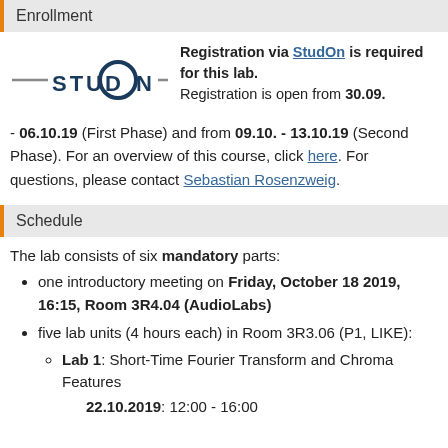Enrollment
[Figure (logo): StudOn logo with horizontal lines and circular O]
Registration via StudOn is required for this lab. Registration is open from 30.09. - 06.10.19 (First Phase) and from 09.10. - 13.10.19 (Second Phase). For an overview of this course, click here. For questions, please contact Sebastian Rosenzweig.
Schedule
The lab consists of six mandatory parts:
one introductory meeting on Friday, October 18 2019, 16:15, Room 3R4.04 (AudioLabs)
five lab units (4 hours each) in Room 3R3.06 (P1, LIKE):
Lab 1: Short-Time Fourier Transform and Chroma Features
22.10.2019: 12:00 - 16:00